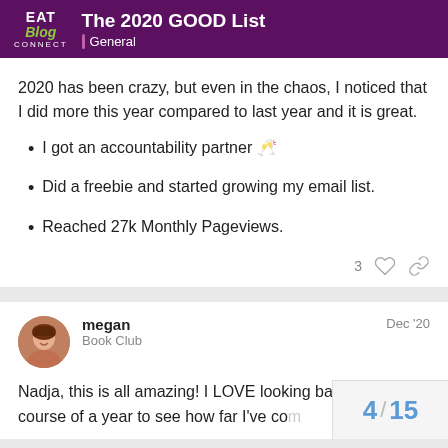The 2020 GOOD List | General
2020 has been crazy, but even in the chaos, I noticed that I did more this year compared to last year and it is great.
I got an accountability partner 🤝
Did a freebie and started growing my email list.
Reached 27k Monthly Pageviews.
megan — Book Club — Dec '20
Nadja, this is all amazing! I LOVE lookin course of a year to see how far I've con